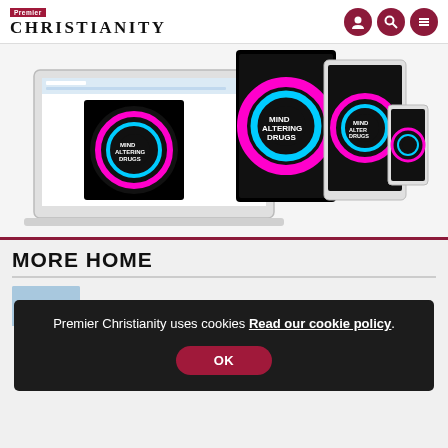Premier Christianity
[Figure (screenshot): Premier Christianity magazine shown on laptop, tablet, and phone screens, featuring 'Mind Altering Drugs' cover issue]
MORE HOME
[Figure (photo): Article thumbnail image (partially visible, blue/grey tones)]
Premier Christianity uses cookies Read our cookie policy.
OK